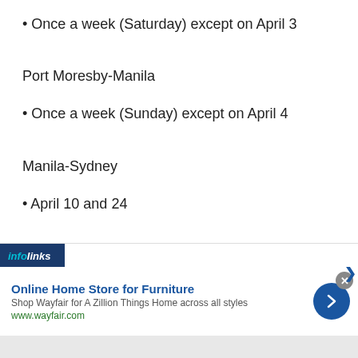Once a week (Saturday) except on April 3
Port Moresby-Manila
Once a week (Sunday) except on April 4
Manila-Sydney
April 10 and 24
Sydney-Manila